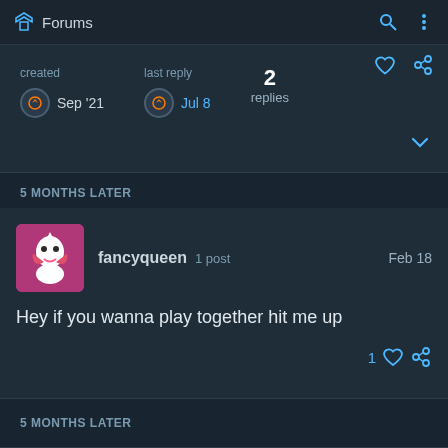Forums
created Sep '21  last reply Jul 8  2 replies
5 MONTHS LATER
fancyqueen  1 post  Feb 18
Hey if you wanna play together hit me up
5 MONTHS LATER